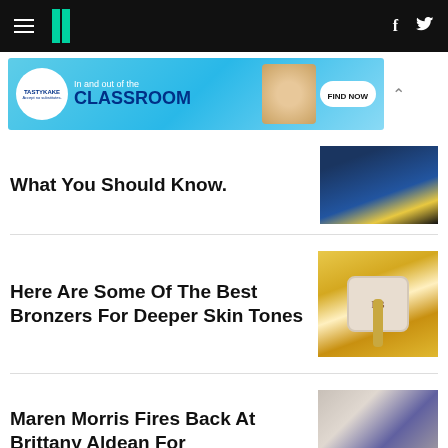HuffPost navigation bar with hamburger menu, logo, Facebook and Twitter icons
[Figure (photo): Tastykake advertisement banner: 'In and out of the CLASSROOM' with mini muffins image and FIND NOW button]
What You Should Know.
[Figure (photo): Article thumbnail image showing dark blue background with partial object]
Here Are Some Of The Best Bronzers For Deeper Skin Tones
[Figure (photo): Article thumbnail image showing Fenty Beauty bronzer compact on gold sunburst background]
Maren Morris Fires Back At Brittany Aldean For
[Figure (photo): Article thumbnail image showing two women]